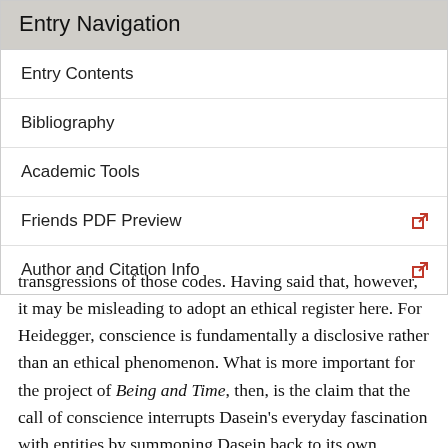Entry Navigation
Entry Contents
Bibliography
Academic Tools
Friends PDF Preview
Author and Citation Info
transgressions of those codes. Having said that, however, it may be misleading to adopt an ethical register here. For Heidegger, conscience is fundamentally a disclosive rather than an ethical phenomenon. What is more important for the project of Being and Time, then, is the claim that the call of conscience interrupts Dasein's everyday fascination with entities by summoning Dasein back to its own finitude and thereby to authenticity. To see how the call of conscience achieves this, we need to unpack Heidegger's reformulation of conscience in terms of anticipatory resoluteness.